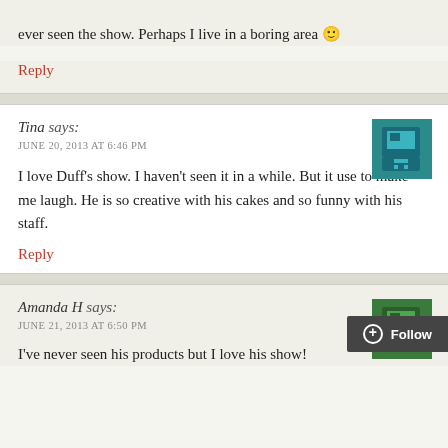ever seen the show. Perhaps I live in a boring area 🙂
Reply
Tina says:
JUNE 20, 2013 AT 6:46 PM
I love Duff's show. I haven't seen it in a while. But it use to make me laugh. He is so creative with his cakes and so funny with his staff.
Reply
Amanda H says:
JUNE 21, 2013 AT 6:50 PM
I've never seen his products but I love his show!